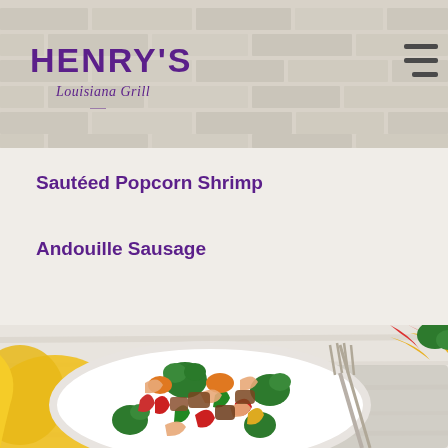[Figure (logo): Henry's Louisiana Grill logo with purple text on beige/brick background, with hamburger menu icon in top right]
Sautéed Popcorn Shrimp
Andouille Sausage
[Figure (photo): Overhead photo of a white plate with sautéed shrimp, broccoli, red and green bell peppers, and andouille sausage pieces. A silver fork rests beside the plate. Yellow cloth napkin on left, colorful pepper slices in top right. White wooden table surface.]